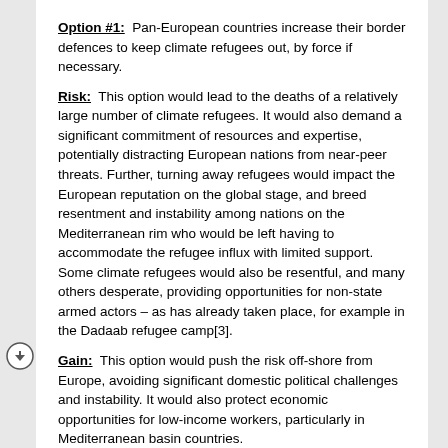Option #1: Pan-European countries increase their border defences to keep climate refugees out, by force if necessary.
Risk: This option would lead to the deaths of a relatively large number of climate refugees. It would also demand a significant commitment of resources and expertise, potentially distracting European nations from near-peer threats. Further, turning away refugees would impact the European reputation on the global stage, and breed resentment and instability among nations on the Mediterranean rim who would be left having to accommodate the refugee influx with limited support. Some climate refugees would also be resentful, and many others desperate, providing opportunities for non-state armed actors – as has already taken place, for example in the Dadaab refugee camp[3].
Gain: This option would push the risk off-shore from Europe, avoiding significant domestic political challenges and instability. It would also protect economic opportunities for low-income workers, particularly in Mediterranean basin countries.